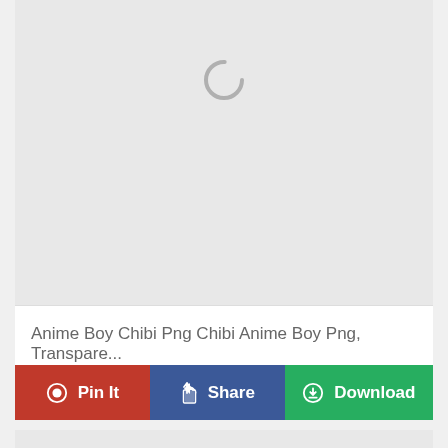[Figure (screenshot): Loading image placeholder with spinner on gray background]
Anime Boy Chibi Png Chibi Anime Boy Png, Transpare...
Pin It
Share
Download
[Figure (screenshot): Second loading image placeholder on gray background]